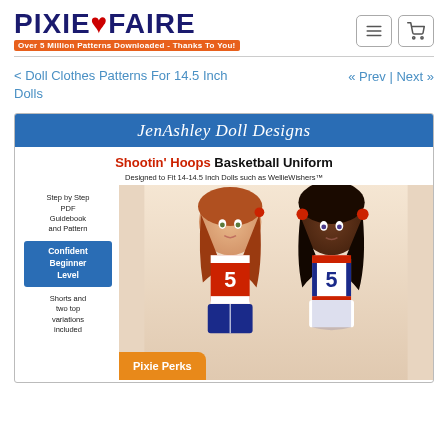PIXIE FAIRE — Over 5 Million Patterns Downloaded - Thanks To You!
< Doll Clothes Patterns For 14.5 Inch Dolls
« Prev | Next »
[Figure (photo): JenAshley Doll Designs product listing image for 'Shootin' Hoops Basketball Uniform', showing two dolls wearing red/white/blue basketball uniforms with number 5, designed to fit 14-14.5 inch dolls such as WellieWishers. Left sidebar shows 'Step by Step PDF Guidebook and Pattern', 'Confident Beginner Level' badge, and 'Shorts and two top variations included'.]
Pixie Perks